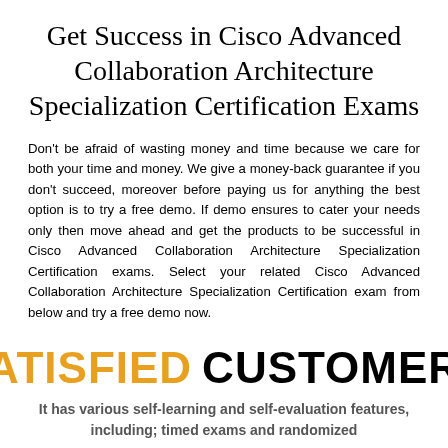Get Success in Cisco Advanced Collaboration Architecture Specialization Certification Exams
Don't be afraid of wasting money and time because we care for both your time and money. We give a money-back guarantee if you don't succeed, moreover before paying us for anything the best option is to try a free demo. If demo ensures to cater your needs only then move ahead and get the products to be successful in Cisco Advanced Collaboration Architecture Specialization Certification exams. Select your related Cisco Advanced Collaboration Architecture Specialization Certification exam from below and try a free demo now.
SATISFIED CUSTOMERS
It has various self-learning and self-evaluation features, including; timed exams and randomized